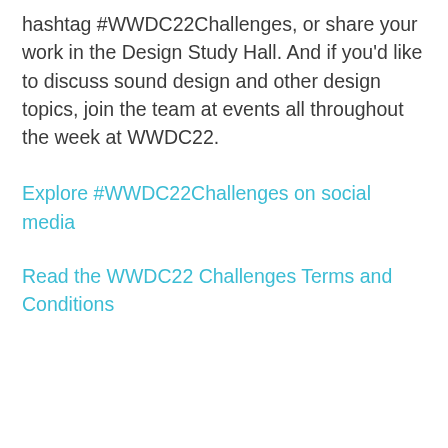hashtag #WWDC22Challenges, or share your work in the Design Study Hall. And if you'd like to discuss sound design and other design topics, join the team at events all throughout the week at WWDC22.
Explore #WWDC22Challenges on social media
Read the WWDC22 Challenges Terms and Conditions